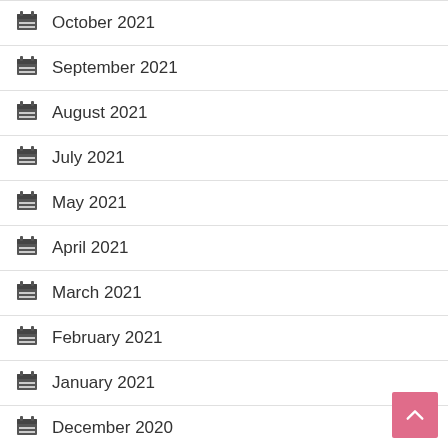October 2021
September 2021
August 2021
July 2021
May 2021
April 2021
March 2021
February 2021
January 2021
December 2020
November 2020
October 2020
September 2020